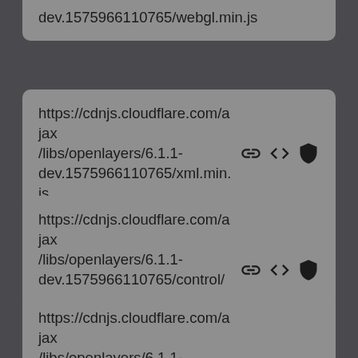dev.1575966110765/webgl.min.js
https://cdnjs.cloudflare.com/ajax/libs/openlayers/6.1.1-dev.1575966110765/xml.min.js
https://cdnjs.cloudflare.com/ajax/libs/openlayers/6.1.1-dev.1575966110765/control/Attribution.min.js
https://cdnjs.cloudflare.com/ajax/libs/openlayers/6.1.1-dev.1575966110765/control/Control.min.js